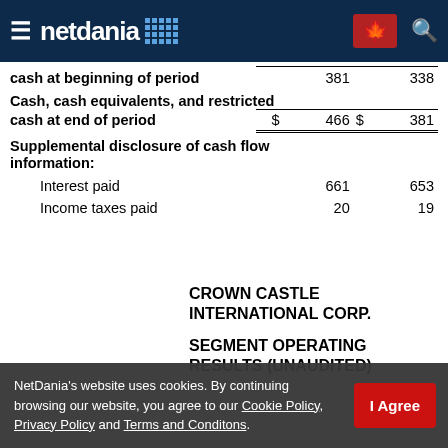netdania [website navigation header]
|  |  |  |
| --- | --- | --- |
| cash at beginning of period | 381 | 338 |
| Cash, cash equivalents, and restricted cash at end of period | $ 466 | $ 381 |
| Supplemental disclosure of cash flow information: |  |  |
| Interest paid | 661 | 653 |
| Income taxes paid | 20 | 19 |
CROWN CASTLE INTERNATIONAL CORP.
SEGMENT OPERATING RESULTS (UNAUDITED)
NetDania's website uses cookies. By continuing browsing our website, you agree to our Cookie Policy, Privacy Policy and Terms and Conditons.